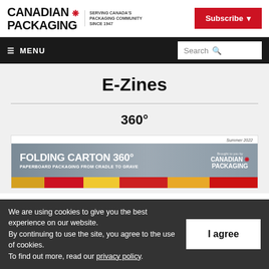CANADIAN PACKAGING — SERVING CANADA'S PACKAGING COMMUNITY SINCE 1947 | Subscribe | Menu | Search
E-Zines
360°
[Figure (screenshot): Magazine cover thumbnail for Folding Carton 360° Summer 2022 issue by Canadian Packaging. Banner reads: FOLDING CARTON 360° PAPERBOARD PACKAGING FROM CRADLE TO GRAVE. Brought to you by Canadian Packaging logo.]
We are using cookies to give you the best experience on our website. By continuing to use the site, you agree to the use of cookies. To find out more, read our privacy policy.